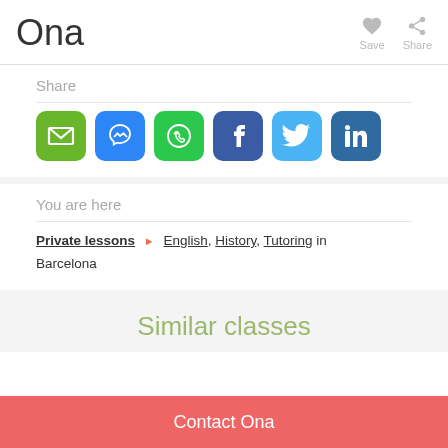Ona
Save
Share
Share
[Figure (infographic): Row of 6 social sharing icon buttons: Email (green), Messenger (blue), WhatsApp (green), Facebook (dark blue), Twitter (light blue), LinkedIn (dark blue)]
You are here
Private lessons ▶ English, History, Tutoring in Barcelona
Similar classes
Contact Ona